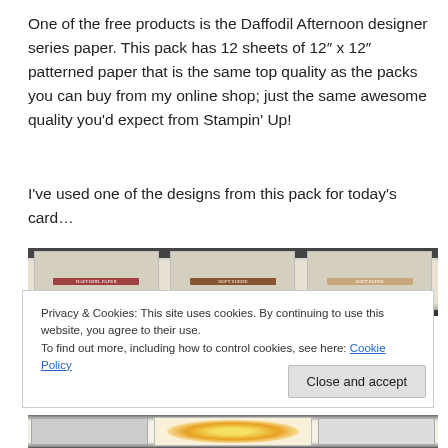One of the free products is the Daffodil Afternoon designer series paper. This pack has 12 sheets of 12" x 12" patterned paper that is the same top quality as the packs you can buy from my online shop; just the same awesome quality you'd expect from Stampin' Up!
I've used one of the designs from this pack for today's card...
[Figure (photo): Partial view of a designer paper pack display showing multiple patterned paper samples with product labels]
Privacy & Cookies: This site uses cookies. By continuing to use this website, you agree to their use.
To find out more, including how to control cookies, see here: Cookie Policy
Close and accept
[Figure (photo): Bottom portion of designer paper pack showing floral patterns including yellow flowers]